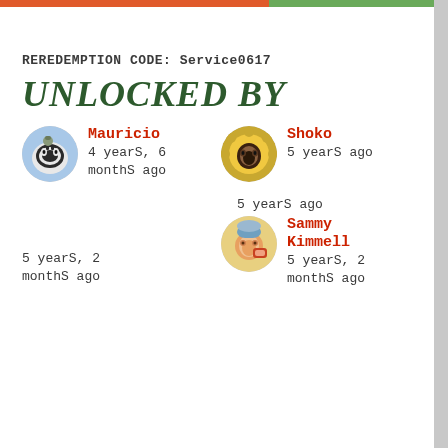REREDEMPTION CODE: Service0617
UNLOCKED BY
[Figure (illustration): Round avatar of a cartoon cat wearing a hat, black and white cat on blue background]
Mauricio
4 yearS, 6 monthS ago
[Figure (illustration): Round avatar of a Siamese cat surrounded by golden decorative elements]
Shoko
5 yearS ago
5 yearS ago
5 yearS, 2 monthS ago
[Figure (illustration): Round avatar of an orange tabby cat wearing a blue hat, holding a book]
Sammy Kimmell
5 yearS, 2 monthS ago